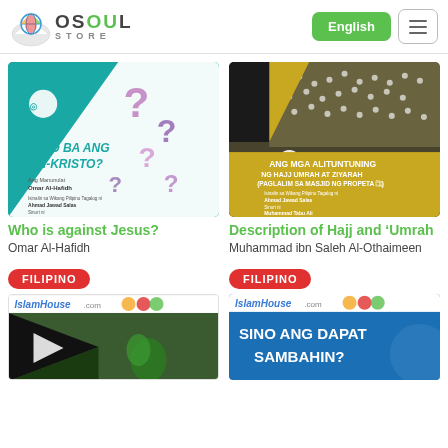OSOUL STORE — English navigation header
[Figure (photo): Book cover: Sino Ba Ang Anti-Kristo? (Who is against Jesus?) with question marks design]
Who is against Jesus?
Omar Al-Hafidh
[Figure (photo): Book cover: Ang Mga Alituntuning ng Hajj Umrah at Ziyarah — crowd of pilgrims in white]
Description of Hajj and ‘Umrah
Muhammad ibn Saleh Al-Othaimeen
FILIPINO
[Figure (photo): IslamHouse.com book cover with dark triangle and nature background]
FILIPINO
[Figure (photo): IslamHouse.com book cover: Sino ang Dapat Sambahin? with blue background]